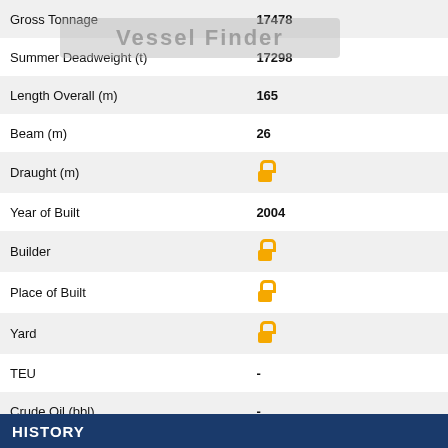| Field | Value |
| --- | --- |
| Gross Tonnage | 17478 |
| Summer Deadweight (t) | 17298 |
| Length Overall (m) | 165 |
| Beam (m) | 26 |
| Draught (m) | 🔒 |
| Year of Built | 2004 |
| Builder | 🔒 |
| Place of Built | 🔒 |
| Yard | 🔒 |
| TEU | - |
| Crude Oil (bbl) | - |
| Gas (m3) | 🔒 |
| Grain | - |
| Bale | - |
| Classification Society | 🔒 |
| Registered Owner | 🔒 |
| Manager | 🔒 |
HISTORY